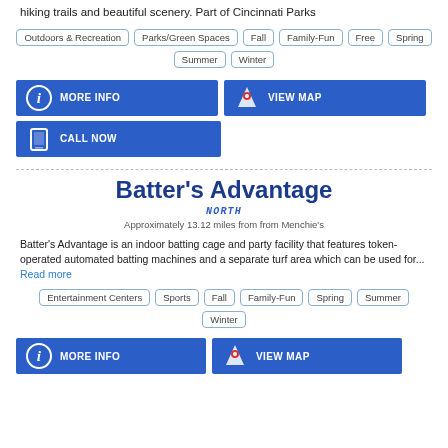Located in Northside, this park is a favorite of locals due to its many hiking trails and beautiful scenery.  Part of Cincinnati Parks
Outdoors & Recreation
Parks/Green Spaces
Fall
Family-Fun
Free
Spring
Summer
Winter
MORE INFO
VIEW MAP
CALL NOW
Batter's Advantage
NORTH
Approximately 13.12 miles from from Menchie's
Batter's Advantage is an indoor batting cage and party facility that features token-operated automated batting machines and a separate turf area which can be used for... Read more
Entertainment Centers
Sports
Fall
Family-Fun
Spring
Summer
Winter
MORE INFO
VIEW MAP